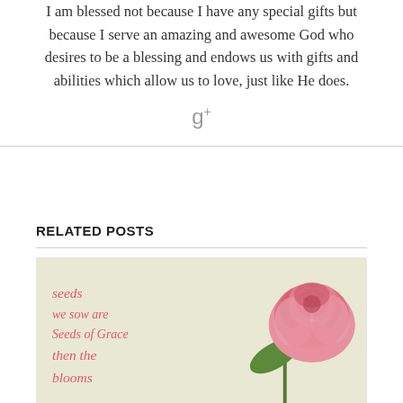I am blessed not because I have any special gifts but because I serve an amazing and awesome God who desires to be a blessing and endows us with gifts and abilities which allow us to love, just like He does.
[Figure (other): Google+ social share icon (g+)]
RELATED POSTS
[Figure (photo): Decorative image with a pink rose flower and cursive text reading: 'seeds we sow are Seeds of Grace then the blooms']